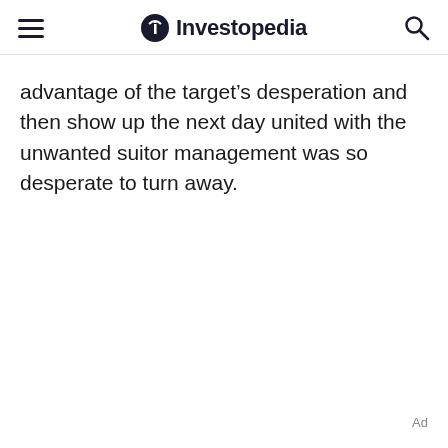Investopedia
advantage of the target's desperation and then show up the next day united with the unwanted suitor management was so desperate to turn away.
Ad